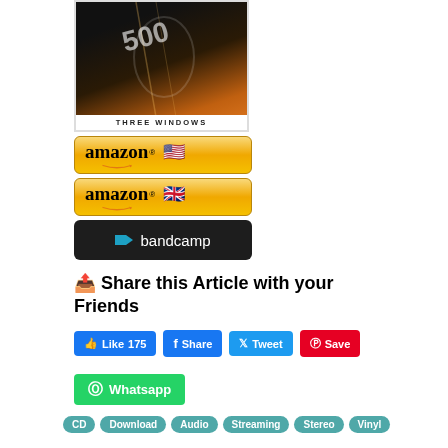[Figure (photo): Album cover for 'Three Windows' showing a dark image with guitar/music elements and orange gradient. White bar at bottom reads 'THREE WINDOWS' in spaced caps.]
[Figure (other): Amazon US button - gold gradient button with 'amazon' text and US flag emoji]
[Figure (other): Amazon UK button - gold gradient button with 'amazon' text and UK flag emoji]
[Figure (other): Bandcamp button - dark background with teal bandcamp logo and white text 'bandcamp']
Share this Article with your Friends
[Figure (other): Social sharing buttons: Like 175, Share, Tweet, Save, and Whatsapp]
[Figure (other): Tag pills at bottom: CD, Download, Audio, Streaming, Stereo, Vinyl]